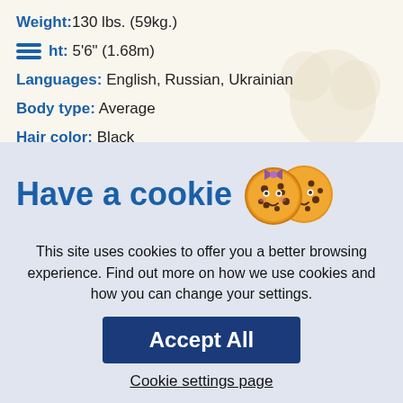Weight: 130 lbs. (59kg.)
ht: 5'6" (1.68m)
Languages: English, Russian, Ukrainian
Body type: Average
Hair color: Black
Hair length: Long
Eye color: Brown
Have a cookie
This site uses cookies to offer you a better browsing experience. Find out more on how we use cookies and how you can change your settings.
Accept All
Cookie settings page